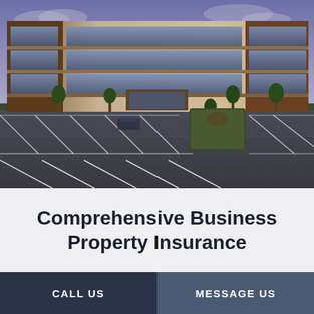[Figure (photo): Aerial/ground-level view of a modern multi-story commercial office building with brick and glass facade, surrounded by a large empty parking lot with white parking space lines, young trees, and landscaping, photographed at dusk/dawn with a purple-blue sky.]
Comprehensive Business Property Insurance
CALL US
MESSAGE US